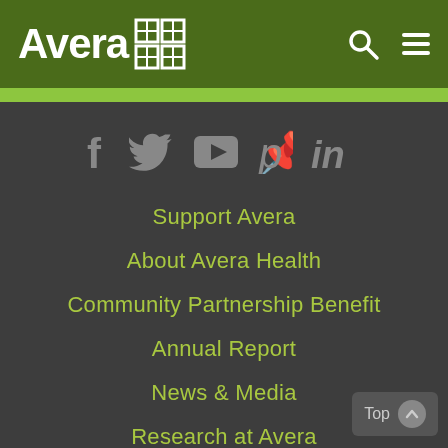[Figure (logo): Avera Health logo with white text and cross/grid icon on dark green background header bar with search icon and hamburger menu]
Support Avera
About Avera Health
Community Partnership Benefit
Annual Report
News & Media
Research at Avera